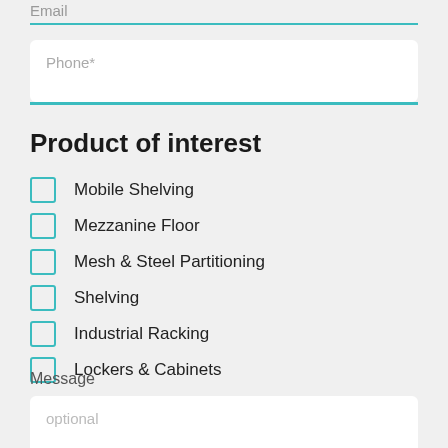Email
Phone*
Product of interest
Mobile Shelving
Mezzanine Floor
Mesh & Steel Partitioning
Shelving
Industrial Racking
Lockers & Cabinets
Message
optional